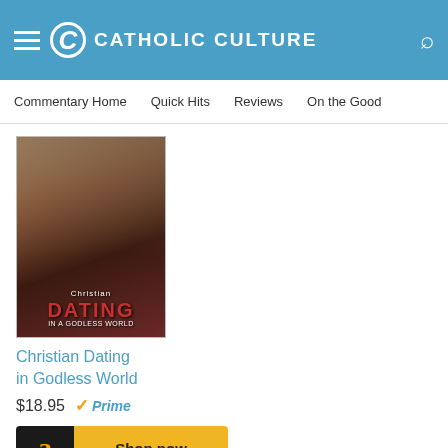CATHOLIC CULTURE
Commentary Home | Quick Hits | Reviews | On the Good
[Figure (illustration): Book cover for 'Christian Dating in Godless World']
Christian Dating in Godless World
$18.95 Prime
Shop now
[Figure (illustration): Pencil illustration portrait of Jeffrey Mirus]
Jeffrey Mirus holds a Ph.D. in intellectual history from Princeton University. A co-founder of Christendom College, he also pioneered Catholic Internet services. He is the